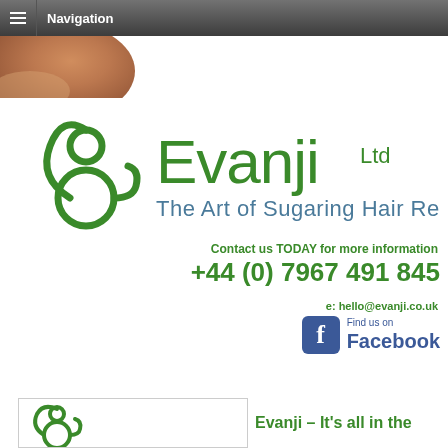Navigation
[Figure (illustration): Partial banner image showing warm tones, partially visible]
[Figure (logo): Evanji Ltd logo with green Leo zodiac symbol and text 'Evanji Ltd - The Art of Sugaring Hair Removal']
Contact us TODAY for more information
+44 (0) 7967 491 845
e: hello@evanji.co.uk
[Figure (logo): Find us on Facebook badge with Facebook icon]
Evanji – It's all in the